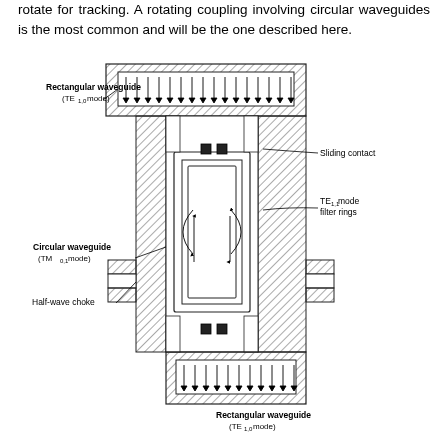rotate for tracking. A rotating coupling involving circular waveguides is the most common and will be the one described here.
[Figure (engineering-diagram): Cross-sectional diagram of a rotary waveguide coupling showing: Rectangular waveguide (TE1,0 mode) at top and bottom, Circular waveguide (TM0,1 mode) in the middle section, Sliding contact on the right side, TE1,1 mode filter rings on the right, and Half-wave choke on the lower left. The diagram shows the internal structure with hatching for metal walls, arrows indicating field directions inside waveguides, and curved arrows showing mode transitions.]